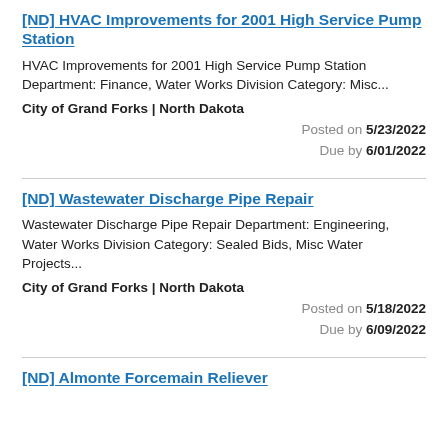[ND] HVAC Improvements for 2001 High Service Pump Station
HVAC Improvements for 2001 High Service Pump Station Department: Finance, Water Works Division Category: Misc...
City of Grand Forks | North Dakota
Posted on 5/23/2022
Due by 6/01/2022
[ND] Wastewater Discharge Pipe Repair
Wastewater Discharge Pipe Repair Department: Engineering, Water Works Division Category: Sealed Bids, Misc Water Projects...
City of Grand Forks | North Dakota
Posted on 5/18/2022
Due by 6/09/2022
[ND] Almonte Forcemain Reliever